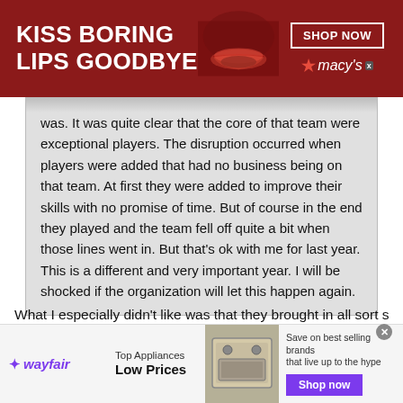[Figure (other): Advertisement banner for Macy's lipstick: 'KISS BORING LIPS GOODBYE' with SHOP NOW button and Macy's star logo on dark red background with woman's face/lips image]
was. It was quite clear that the core of that team were exceptional players. The disruption occurred when players were added that had no business being on that team. At first they were added to improve their skills with no promise of time. But of course in the end they played and the team fell off quite a bit when those lines went in. But that's ok with me for last year. This is a different and very important year. I will be shocked if the organization will let this happen again.
What I especially didn't like was that they brought in all sort s of kids and created two teams specifically so the weaker kids could play more, yet when it came time for the stronger kids to play their games, we were told they were trying to give playing time to the kids who didn't get a chance to Play much. That made no sense since they
[Figure (other): Advertisement for Wayfair: Top Appliances Low Prices, Save on best selling brands that live up to the hype, Shop now button in purple]